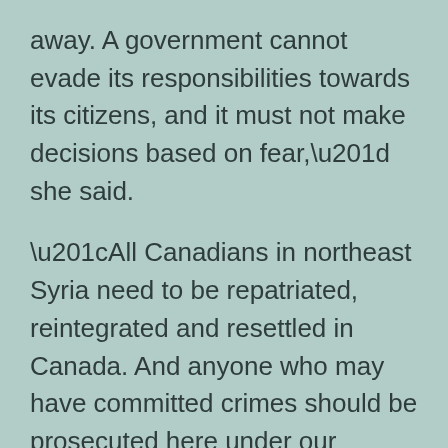away. A government cannot evade its responsibilities towards its citizens, and it must not make decisions based on fear,” she said.
“All Canadians in northeast Syria need to be repatriated, reintegrated and resettled in Canada. And anyone who may have committed crimes should be prosecuted here under our judicial system. Other countries have done this, but Canada has not yet shown the political will.”
Green MP Elizabeth May said she could not understand why Canada is not urgently